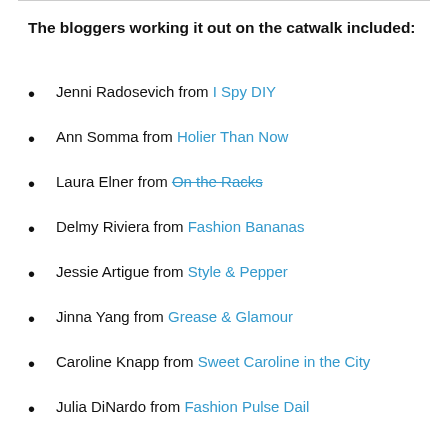The bloggers working it out on the catwalk included:
Jenni Radosevich from I Spy DIY
Ann Somma from Holier Than Now
Laura Elner from On the Racks
Delmy Riviera from Fashion Bananas
Jessie Artigue from Style & Pepper
Jinna Yang from Grease & Glamour
Caroline Knapp from Sweet Caroline in the City
Julia DiNardo from Fashion Pulse Daily (partial)